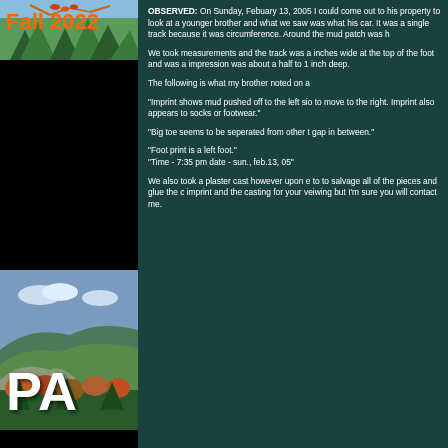[Figure (illustration): Left column with black background. Top: green nature header with orange bold text 'Fall 2022'. Middle-bottom: Pennsylvania landscape photo with forested hills and 'PA' text overlay.]
OBSERVED: On Sunday, Febuary 13, 2005 I could come out to his property to look at a younger brother and what we saw was what his car. It was a single track because it was circumference. Around the mud patch was h

We took measurements and the track was a inches wide at the top of the foot and was a impression was about a half to 1 inch deep.

The following is what my brother noted on a

"Imprint shows mud pushed off to the left sio to move to the right. Imprint also appears to socks or footwear."

"Big toe seems to be seperated from other t gap in between."

"Foot print is a left foot."
"Time - 7:35 pm date - sun., feb.13, 05"

We also took a plaster cast however upon e to to salvage all of the pieces and glue the c imprint and the casting for your veiwing but I'm sure you will contact me.